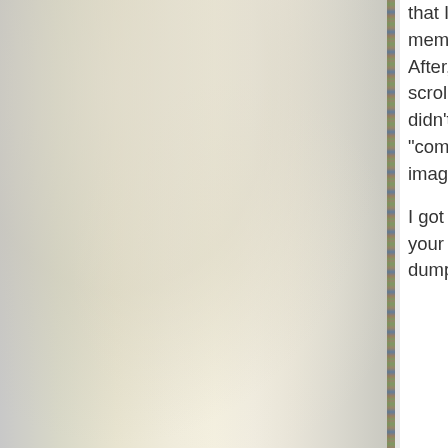[Figure (photo): Left side shows a white/cream colored fluffy animal (likely a cat or dog) with soft fur, with a decorative green and brown dotted border strip on the right edge of the image]
that I go to Elftown.com's Mainstreet to read the latest "active members' status", which is provided at the bottom of the MS page. After, when I signed on to AOL and went to MS, the page "all by itself" scrolled immediately to the bottom! Well, you and I both know that it didn't do it "all by itself", don't we Hedda? It had a little help from my "computer gremlin"! My computer gremlin's name is "Gr-edda". I can't imagine how this name was derived, can you, Hedda? smirks
I got off my computer because I wanted to get away from YOU and your annoying antics, but I could also tell there was another Kaspersky dump in progress. I can tell by the way my old